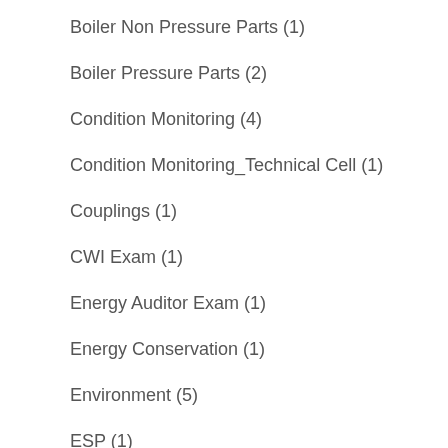Boiler Non Pressure Parts (1)
Boiler Pressure Parts (2)
Condition Monitoring (4)
Condition Monitoring_Technical Cell (1)
Couplings (1)
CWI Exam (1)
Energy Auditor Exam (1)
Energy Conservation (1)
Environment (5)
ESP (1)
Expansion Bellow (1)